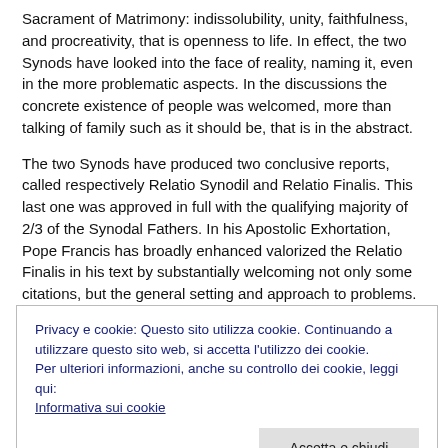Sacrament of Matrimony: indissolubility, unity, faithfulness, and procreativity, that is openness to life.  In effect, the two Synods have looked into the face of reality, naming it, even in the more problematic aspects.  In the discussions the concrete existence of people was welcomed, more than talking of family such as it should be, that is in the abstract.
The two Synods have produced two conclusive reports, called respectively Relatio Synodil and Relatio Finalis.  This last one was approved in full with the qualifying majority of  2/3 of the Synodal Fathers.  In his Apostolic Exhortation, Pope Francis has broadly enhanced valorized the Relatio Finalis in his text by substantially welcoming not only some citations, but the general setting and approach to problems.  To these citations are added references to documents from the Episcopal Conferences of Latin America and the
Privacy e cookie: Questo sito utilizza cookie. Continuando a utilizzare questo sito web, si accetta l'utilizzo dei cookie.
Per ulteriori informazioni, anche su controllo dei cookie, leggi qui:
Informativa sui cookie
Accetta e chiudi
But obviously the Exhortation, and its breadth, also echoes the